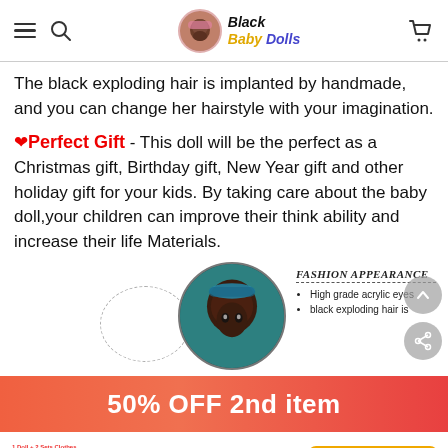Black Baby Dolls
The black exploding hair is implanted by handmade, and you can change her hairstyle with your imagination.
❤Perfect Gift - This doll will be the perfect as a Christmas gift, Birthday gift, New Year gift and other holiday gift for your kids. By taking care about the baby doll,your children can improve their think ability and increase their life Materials.
[Figure (photo): Black baby doll with teal headband, circular cropped photo; Fashion Appearance label with bullet points: High grade acrylic eyes, black exploding hair is]
50% OFF 2nd item
$19.99  $39.99  1 Doll + 2 Sets Clot...